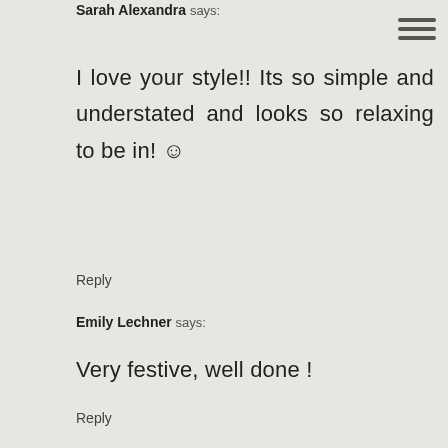Sarah Alexandra says:
I love your style!! Its so simple and understated and looks so relaxing to be in! ☺
Reply
Emily Lechner says:
Very festive, well done !
Reply